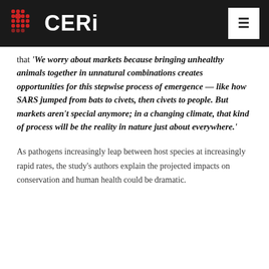CERI
that 'We worry about markets because bringing unhealthy animals together in unnatural combinations creates opportunities for this stepwise process of emergence — like how SARS jumped from bats to civets, then civets to people. But markets aren't special anymore; in a changing climate, that kind of process will be the reality in nature just about everywhere.'
As pathogens increasingly leap between host species at increasingly rapid rates, the study's authors explain the projected impacts on conservation and human health could be dramatic.